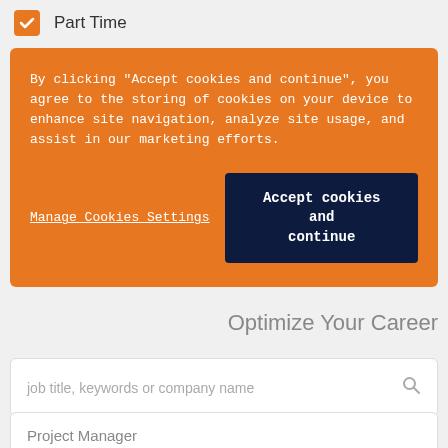Part Time
By clicking "Accept cookies and continue", you agree to the storing of cookies on your device to enhance site navigation, analyze site usage, and assist in our marketing efforts.
Manage Cookies Settings
Accept cookies and continue
Optimize Your Career
job title, keywords or company name
Project Manager